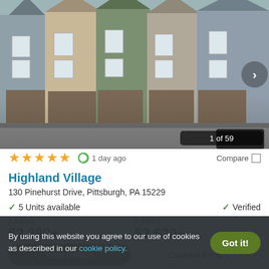[Figure (photo): Exterior photo of Highland Village townhomes — a row of multi-story townhouses with varied siding colors (gray, tan, green, blue) and brick garage facades, with a right-arrow navigation control and '1 of 59' counter overlay.]
★★★★☆  1 day ago   Compare □
Highland Village
130 Pinehurst Drive, Pittsburgh, PA 15229
✓ 5 Units available    ✓ Verified
2 BEDS
$2,290+
3 BEDS
$2,620+
View Details   Contact Property
By using this website you agree to our use of cookies as described in our cookie policy.